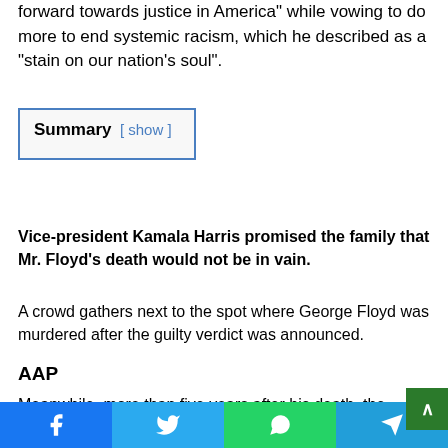forward towards justice in America" while vowing to do more to end systemic racism, which he described as a "stain on our nation's soul".
| Summary |
| --- |
| [ show ] |
Vice-president Kamala Harris promised the family that Mr. Floyd's death would not be in vain.
A crowd gathers next to the spot where George Floyd was murdered after the guilty verdict was announced.
AAP
Meanwhile, more than five years after his death, the family of Mr. Dungay says they are still fighting for justice. In Novemb...